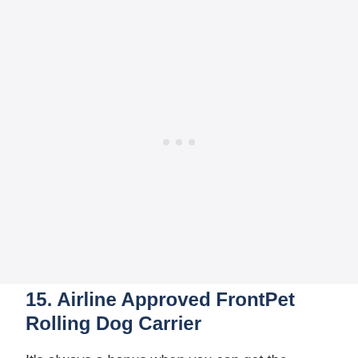[Figure (photo): Light gray placeholder image area with three small dots in the center, indicating a loading or missing image for the Airline Approved FrontPet Rolling Dog Carrier product.]
15. Airline Approved FrontPet Rolling Dog Carrier
It’s always a bonus when you can get the